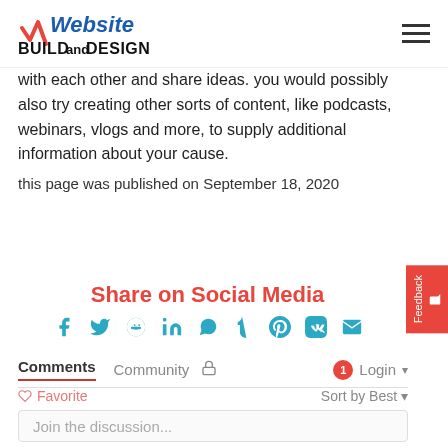Website Build and Design
with each other and share ideas. you would possibly also try creating other sorts of content, like podcasts, webinars, vlogs and more, to supply additional information about your cause.
this page was published on September 18, 2020
Share on Social Media
[Figure (infographic): Social media share icons: Facebook, Twitter, Reddit, LinkedIn, WhatsApp, Tumblr, Pinterest, VK, Email]
Comments  Community  [lock icon]  [1 notification] Login
Favorite  Sort by Best
Join the discussion...